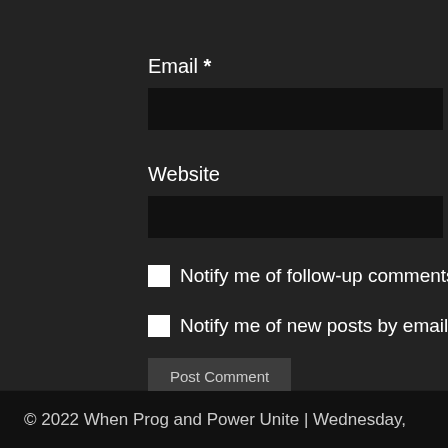Email *
Website
Notify me of follow-up comments by email.
Notify me of new posts by email.
Post Comment
This site uses Akismet to reduce spam. Learn h
© 2022 When Prog and Power Unite | Wednesday,